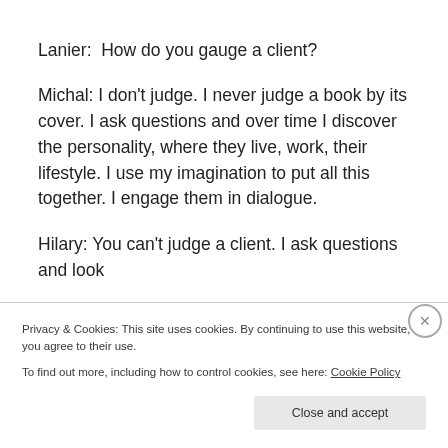Lanier:  How do you gauge a client?
Michal: I don't judge. I never judge a book by its cover. I ask questions and over time I discover the personality, where they live, work, their lifestyle. I use my imagination to put all this together. I engage them in dialogue.
Hilary: You can't judge a client. I ask questions and look
Privacy & Cookies: This site uses cookies. By continuing to use this website, you agree to their use.
To find out more, including how to control cookies, see here: Cookie Policy
Close and accept